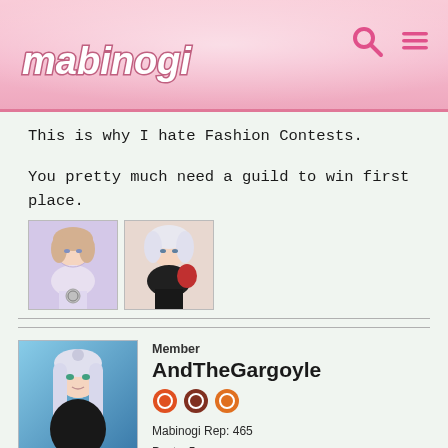mabinogi
This is why I hate Fashion Contests.

You pretty much need a guild to win first place.
[Figure (illustration): Two anime character avatar thumbnails side by side]
Member
AndTheGargoyle
Mabinogi Rep: 465
Posts: 5
MARCH 22, 2019
Blissfulkill wrote: »